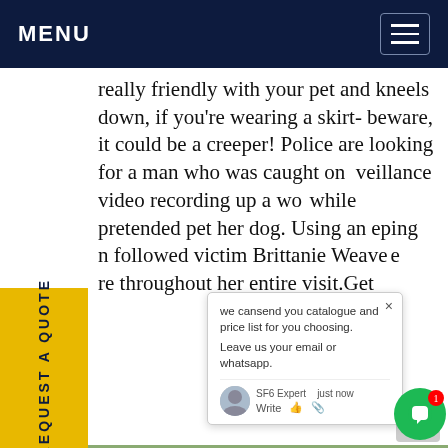MENU
really friendly with your pet and kneels down, if you're wearing a skirt- beware, it could be a creeper! Police are looking for a man who was caught on veillance video recording up a wo while pretended pet her dog. Using an eping n followed victim Brittanie Weave e re throughout her entire visit.Get
[Figure (photo): Street scene with yellow utility trucks marked with Chinese characters and license plates, buildings and trees in background]
we cansend you catalogue and price list for you choosing. Leave us your email or whatsapp.
SF6 Expert  just now
Write